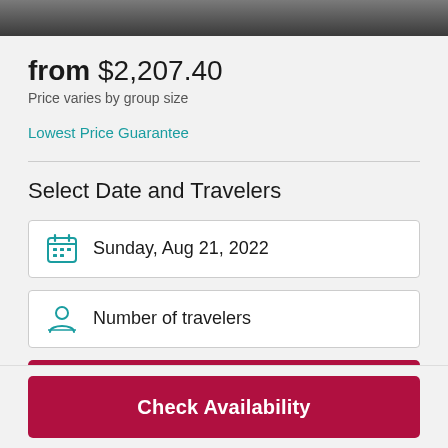[Figure (photo): Dark scenic photo strip at top of page]
from $2,207.40
Price varies by group size
Lowest Price Guarantee
Select Date and Travelers
Sunday, Aug 21, 2022
Number of travelers
Check Availability
Check Availability